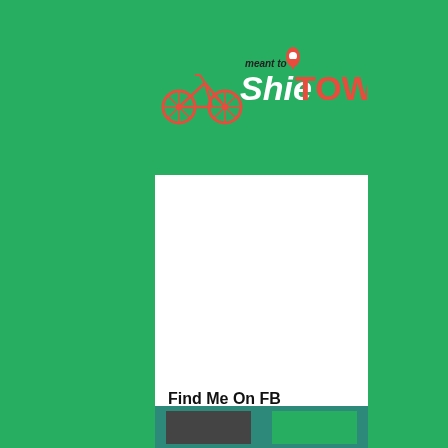[Figure (logo): ShieTOWN bicycle website logo with 'meant to' tagline on green background]
Find Me On FB
This website uses cookies to ensure you get the best experience on our website.
Learn more
Got it!